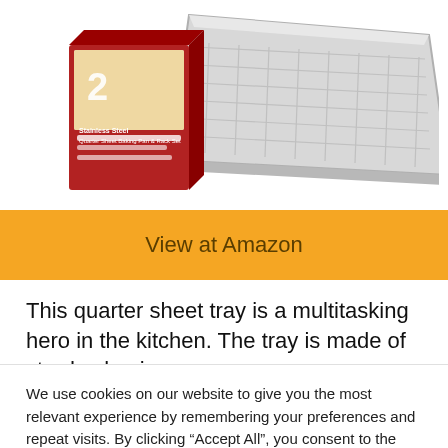[Figure (photo): Product image showing a stainless steel/aluminum quarter sheet baking pan with a rack, alongside its product box packaging labeled '2 Quarter Sheet Baking Pan & Rack Set']
View at Amazon
This quarter sheet tray is a multitasking hero in the kitchen. The tray is made of sturdy aluminum
We use cookies on our website to give you the most relevant experience by remembering your preferences and repeat visits. By clicking “Accept All”, you consent to the use of ALL the cookies. However, you may visit "Cookie Settings" to provide a controlled consent.
Cookie Settings
Accept All